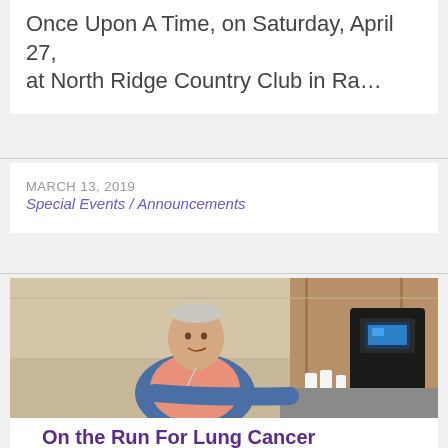Once Upon A Time, on Saturday, April 27, at North Ridge Country Club in Ra…
MARCH 13, 2019
Special Events / Announcements
[Figure (photo): Elderly man in blue vest and pink shirt standing at a coffee machine, smiling at camera]
On the Run For Lung Cancer